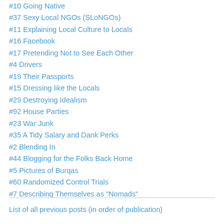#10 Going Native
#37 Sexy Local NGOs (SLoNGOs)
#11 Explaining Local Culture to Locals
#16 Facebook
#17 Pretending Not to See Each Other
#4 Drivers
#19 Their Passports
#15 Dressing like the Locals
#29 Destroying Idealism
#92 House Parties
#23 War Junk
#35 A Tidy Salary and Dank Perks
#2 Blending In
#44 Blogging for the Folks Back Home
#5 Pictures of Burqas
#60 Randomized Control Trials
#7 Describing Themselves as "Nomads"
List of all previous posts (in order of publication)